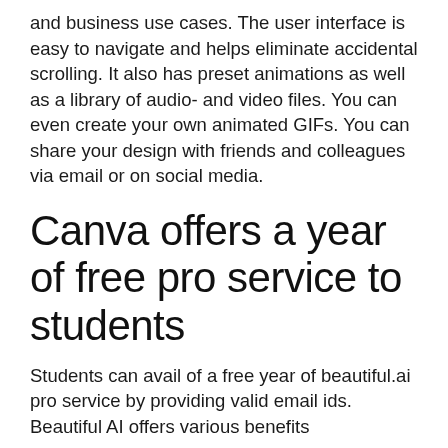and business use cases. The user interface is easy to navigate and helps eliminate accidental scrolling. It also has preset animations as well as a library of audio- and video files. You can even create your own animated GIFs. You can share your design with friends and colleagues via email or on social media.
Canva offers a year of free pro service to students
Students can avail of a free year of beautiful.ai pro service by providing valid email ids. Beautiful AI offers various benefits